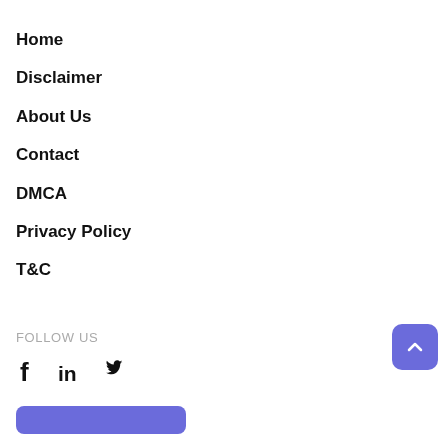Home
Disclaimer
About Us
Contact
DMCA
Privacy Policy
T&C
FOLLOW US
[Figure (infographic): Social media icons: Facebook (f), LinkedIn (in), Twitter (bird icon)]
[Figure (other): Purple scroll-to-top button with upward chevron arrow]
[Figure (other): Purple subscribe button at bottom left]